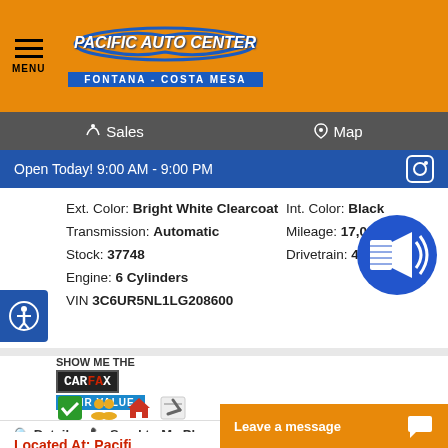PACIFIC AUTO CENTER — FONTANA - COSTA MESA
Sales | Map
Open Today! 9:00 AM - 9:00 PM
Ext. Color: Bright White Clearcoat   Int. Color: Black
Transmission: Automatic   Mileage: 17,083
Stock: 37748   Drivetrain: 4WD
Engine: 6 Cylinders
VIN 3C6UR5NL1LG208600
[Figure (logo): Carfax Show Me The Carfax Fair Value badge]
[Figure (infographic): Four small icons: green checkmark, people/group, house, wrench/tools]
Details   Send to My Phone   $ Value Your Trade
Get Pre-Approved   Test Drive
Located At: Pacifi...
Leave a message